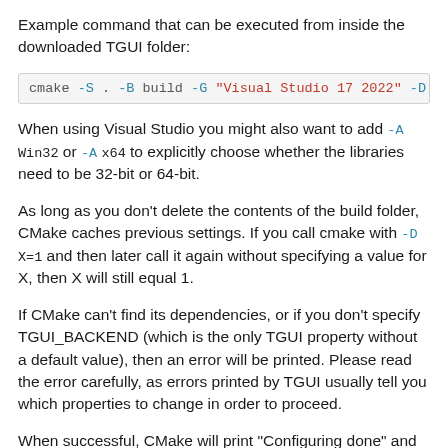Example command that can be executed from inside the downloaded TGUI folder:
cmake -S . -B build -G "Visual Studio 17 2022" -D TGUI_...
When using Visual Studio you might also want to add -A Win32 or -A x64 to explicitly choose whether the libraries need to be 32-bit or 64-bit.
As long as you don’t delete the contents of the build folder, CMake caches previous settings. If you call cmake with -D X=1 and then later call it again without specifying a value for X, then X will still equal 1.
If CMake can’t find its dependencies, or if you don’t specify TGUI_BACKEND (which is the only TGUI property without a default value), then an error will be printed. Please read the error carefully, as errors printed by TGUI usually tell you which properties to change in order to proceed.
When successful, CMake will print “Configuring done” and